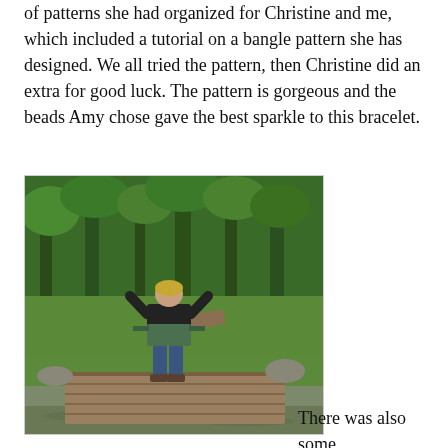of patterns she had organized for Christine and me, which included a tutorial on a bangle pattern she has designed. We all tried the pattern, then Christine did an extra for good luck. The pattern is gorgeous and the beads Amy chose gave the best sparkle to this bracelet.
[Figure (photo): A person standing on a wooden dock or platform over water, facing away from the camera and looking into a lush green forest/wetland area. The person is wearing a black top, green apron, and blue jeans.]
There was also some